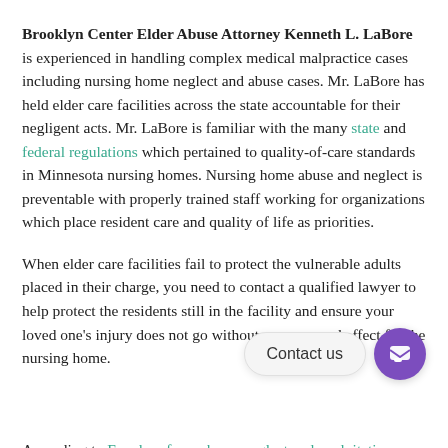Brooklyn Center Elder Abuse Attorney Kenneth L. LaBore is experienced in handling complex medical malpractice cases including nursing home neglect and abuse cases. Mr. LaBore has held elder care facilities across the state accountable for their negligent acts. Mr. LaBore is familiar with the many state and federal regulations which pertained to quality-of-care standards in Minnesota nursing homes. Nursing home abuse and neglect is preventable with properly trained staff working for organizations which place resident care and quality of life as priorities.
When elder care facilities fail to protect the vulnerable adults placed in their charge, you need to contact a qualified lawyer to help protect the residents still in the facility and ensure your loved one's injury does not go without recourse and effect for the nursing home.
According to Freedom from abuse, neglect and exploitation